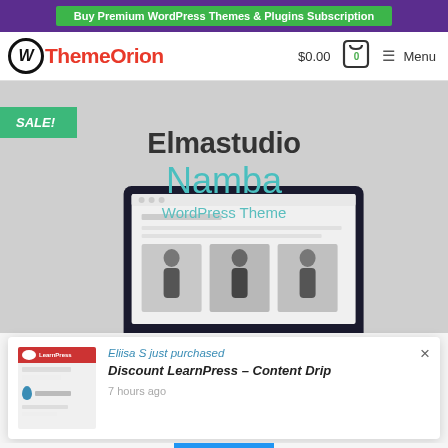Buy Premium WordPress Themes & Plugins Subscription
[Figure (logo): ThemeOrion WordPress logo with red text and WordPress circle icon]
$0.00  0  Menu
[Figure (screenshot): Elmastudio Namba WordPress Theme product image with SALE badge and laptop mockup preview]
Eliisa S just purchased
Discount LearnPress – Content Drip
7 hours ago